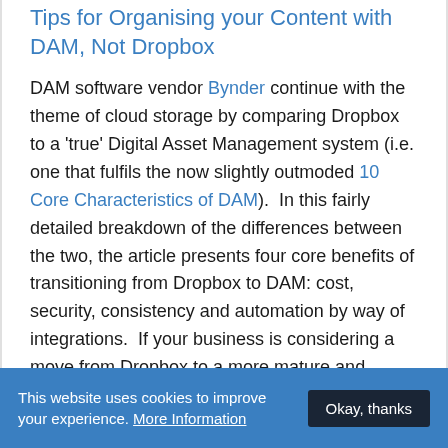Tips for Organising your Content with DAM, Not Dropbox
DAM software vendor Bynder continue with the theme of cloud storage by comparing Dropbox to a 'true' Digital Asset Management system (i.e. one that fulfils the now slightly outmoded 10 Core Characteristics of DAM).  In this fairly detailed breakdown of the differences between the two, the article presents four core benefits of transitioning from Dropbox to DAM: cost, security, consistency and automation by way of integrations.  If your business is considering a move from Dropbox to a more mature and feature-rich platform, this article represents a
This website uses cookies to improve your experience. More Information